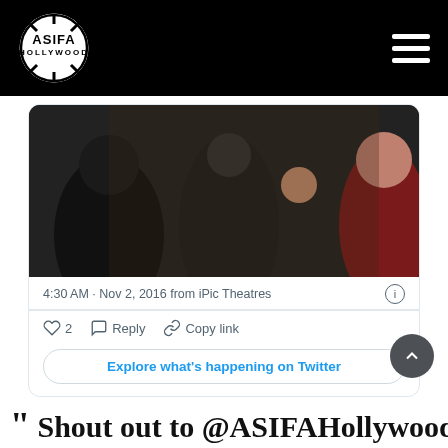ASIFA HOLLYWOOD
[Figure (screenshot): Twitter/X embedded tweet screenshot showing a dark blurry photo of people at an event, with timestamp '4:30 AM · Nov 2, 2016 from iPic Theatres', like count '2', Reply and Copy link actions, and an 'Explore what's happening on Twitter' button]
Shout out to @ASIFAHollywood